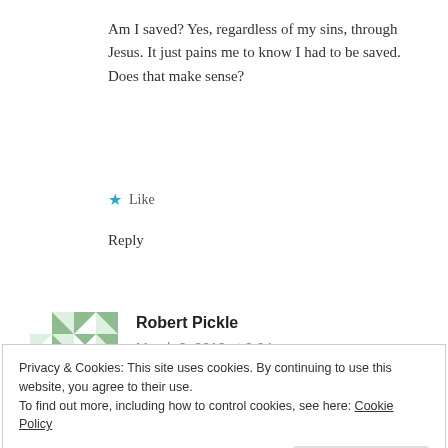Am I saved?  Yes, regardless of my sins, through Jesus. It just pains me to know I had to be saved. Does that make sense?
Like
Reply
Robert Pickle
March 8, 2018 at 3:04 am
In fact, you are a liar as well. and
Privacy & Cookies: This site uses cookies. By continuing to use this website, you agree to their use.
To find out more, including how to control cookies, see here: Cookie Policy
Close and accept
Your soul at stake on your correct